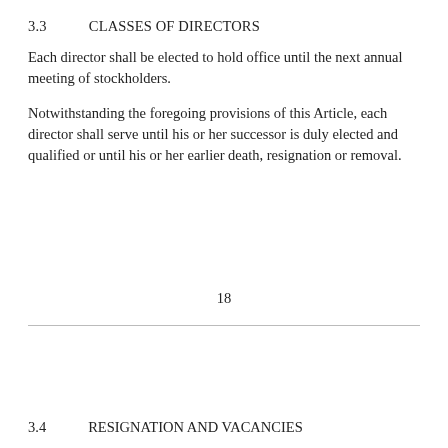3.3    CLASSES OF DIRECTORS
Each director shall be elected to hold office until the next annual meeting of stockholders.
Notwithstanding the foregoing provisions of this Article, each director shall serve until his or her successor is duly elected and qualified or until his or her earlier death, resignation or removal.
18
3.4    RESIGNATION AND VACANCIES